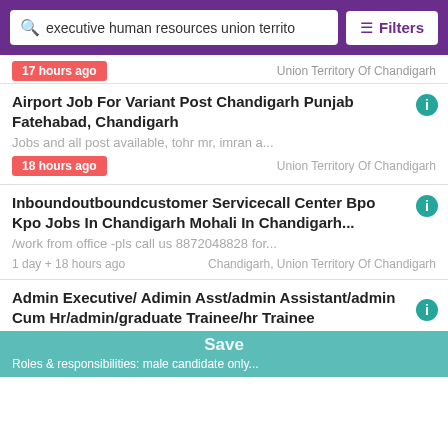executive human resources union territo   Filters
17 hours ago   Union Territory Of Chandigarh
Airport Job For Variant Post Chandigarh Punjab Fatehabad, Chandigarh
Jobs and all post available, tohr mr, imran a...
18 hours ago   Union Territory Of Chandigarh
Inboundoutboundcustomer Servicecall Center Bpo Kpo Jobs In Chandigarh Mohali In Chandigarh...
/work from office -pls call us 8872048828 for...
1 day + 18 hours ago   Chandigarh, Union Territory Of Chandigarh
Admin Executive/ Adimin Asst/admin Assistant/admin Cum Hr/admin/graduate Trainee/hr Trainee
Roles & responsibilities: male candidate only...